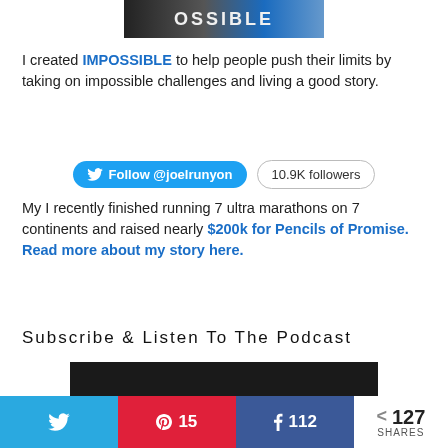[Figure (photo): Partial photo of person wearing shirt with text 'OSSIBLE' visible, blue background on right]
I created IMPOSSIBLE to help people push their limits by taking on impossible challenges and living a good story.
[Figure (infographic): Twitter Follow button: Follow @joelrunyon | 10.9K followers badge]
My I recently finished running 7 ultra marathons on 7 continents and raised nearly $200k for Pencils of Promise. Read more about my story here.
Subscribe & Listen To The Podcast
[Figure (screenshot): Podcast player embed, dark/black background]
[Figure (infographic): Social share bar: Twitter share button, Pinterest 15, Facebook share 112, total 127 SHARES]